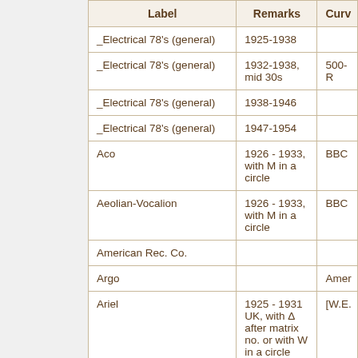| Label | Remarks | Curv… |
| --- | --- | --- |
| _Electrical 78's (general) | 1925-1938 |  |
| _Electrical 78's (general) | 1932-1938, mid 30s | 500-R… |
| _Electrical 78's (general) | 1938-1946 |  |
| _Electrical 78's (general) | 1947-1954 |  |
| Aco | 1926 - 1933, with M in a circle | BBC |
| Aeolian-Vocalion | 1926 - 1933, with M in a circle | BBC |
| American Rec. Co. |  |  |
| Argo |  | Amer… |
| Ariel | 1925 - 1931 UK, with Δ after matrix no. or with W in a circle | [W.E… |